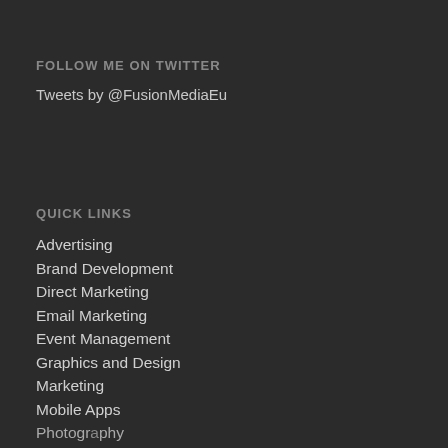FOLLOW ME ON TWITTER
Tweets by @FusionMediaEu
QUICK LINKS
Advertising
Brand Development
Direct Marketing
Email Marketing
Event Management
Graphics and Design
Marketing
Mobile Apps
Photography